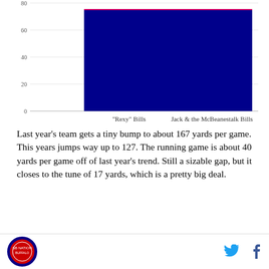[Figure (bar-chart): ]
Last year's team gets a tiny bump to about 167 yards per game. This years jumps way up to 127. The running game is about 40 yards per game off of last year's trend. Still a sizable gap, but it closes to the tune of 17 yards, which is a pretty big deal.
[Figure (infographic): Multilingual safety awareness banner with colorful text on black background: SÝNIĐ AĐGÁT CUÍDESE (cyan/magenta), ZACHOWAJ BEZPIECZEŃSTWO (magenta/pink), VAR FÖRSIKTIG 안전에 유의하세요 (green/white)]
Site logo and social media icons (Twitter, Facebook)